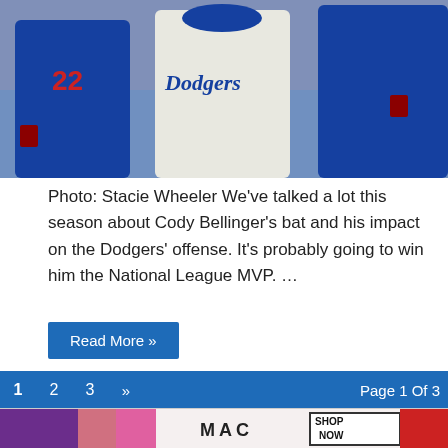[Figure (photo): Photo of baseball players in Dodgers uniforms, including white Dodgers jersey and blue jerseys, standing together on a baseball field.]
Photo: Stacie Wheeler We've talked a lot this season about Cody Bellinger's bat and his impact on the Dodgers' offense. It's probably going to win him the National League MVP. …
Read More »
1  2  3  »  Page 1 Of 3
[Figure (screenshot): Dark background quiz section showing 'Quiz' label and Dodgers Digest logo with partial text 'Which Dodger player bowled a perfect game']
[Figure (photo): MAC cosmetics advertisement showing lipsticks with 'MAC' logo and 'SHOP NOW' button]